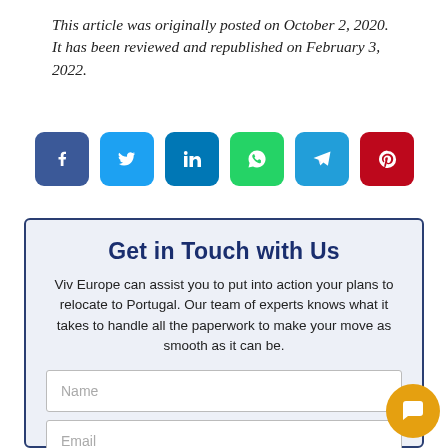This article was originally posted on October 2, 2020. It has been reviewed and republished on February 3, 2022.
[Figure (infographic): Social sharing buttons: Facebook, Twitter, LinkedIn, WhatsApp, Telegram, Pinterest]
Get in Touch with Us
Viv Europe can assist you to put into action your plans to relocate to Portugal. Our team of experts knows what it takes to handle all the paperwork to make your move as smooth as it can be.
Name
Email